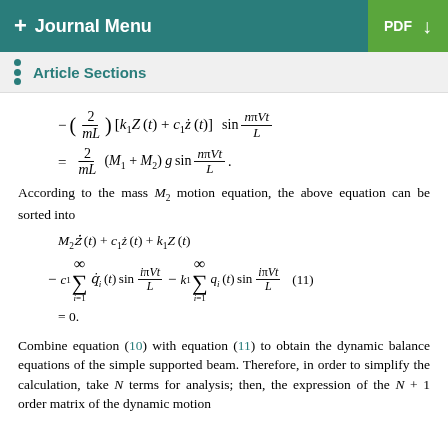+ Journal Menu   PDF ↓
Article Sections
According to the mass M₂ motion equation, the above equation can be sorted into
Combine equation (10) with equation (11) to obtain the dynamic balance equations of the simple supported beam. Therefore, in order to simplify the calculation, take N terms for analysis; then, the expression of the N+1 order matrix of the dynamic motion